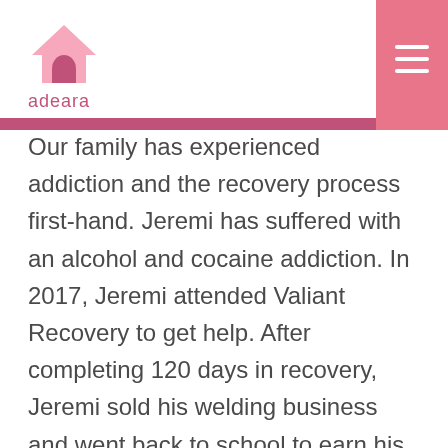adeara
Our family has experienced addiction and the recovery process first-hand. Jeremi has suffered with an alcohol and cocaine addiction. In 2017, Jeremi attended Valiant Recovery to get help. After completing 120 days in recovery, Jeremi sold his welding business and went back to school to earn his Addiction Counselling II certification. I followed suit. Jeremi and I wanted other families to experience the restoration, healing, and freedom our family had found in recovery. Our life calling and passion is to help people caught in any manner of addiction to recover. We live to see them walking free.